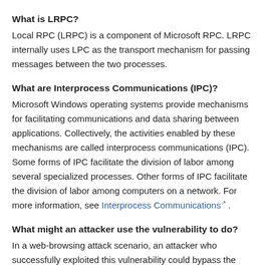What is LRPC?
Local RPC (LRPC) is a component of Microsoft RPC. LRPC internally uses LPC as the transport mechanism for passing messages between the two processes.
What are Interprocess Communications (IPC)?
Microsoft Windows operating systems provide mechanisms for facilitating communications and data sharing between applications. Collectively, the activities enabled by these mechanisms are called interprocess communications (IPC). Some forms of IPC facilitate the division of labor among several specialized processes. Other forms of IPC facilitate the division of labor among computers on a network. For more information, see Interprocess Communications.
What might an attacker use the vulnerability to do?
In a web-browsing attack scenario, an attacker who successfully exploited this vulnerability could bypass the